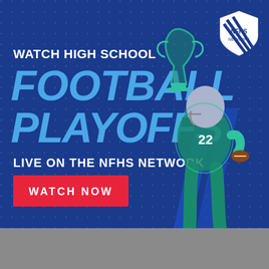[Figure (illustration): NFHS Network advertisement banner for watching high school football playoffs live. Dark blue background with dot pattern, NFHS Network logo top right, text 'WATCH HIGH SCHOOL FOOTBALL PLAYOFFS LIVE ON THE NFHS NETWORK' with a red 'WATCH NOW' button, and an illustrated green-tinted football player holding a trophy on the right side.]